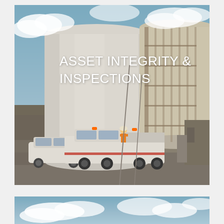[Figure (photo): Industrial site photo showing large white cylindrical storage tanks/silos with scaffolding on the right tank. Workers in high-visibility orange vests visible in front of the tanks. A white pickup truck (utility vehicle with orange warning lights on roof) and a white sedan are parked in the foreground on a concrete/gravel surface. Industrial equipment and a building visible to the right background. Blue sky with white clouds above.]
ASSET INTEGRITY & INSPECTIONS
[Figure (photo): Partial photo showing blue sky with white clouds, bottom portion of the page — beginning of a second image.]